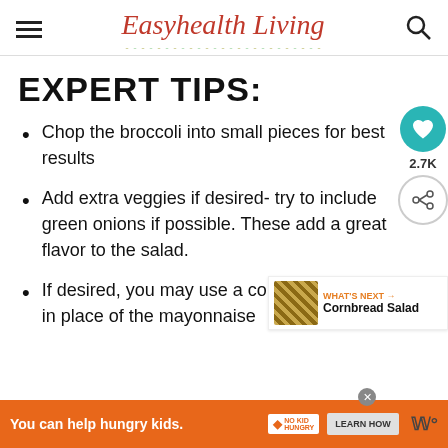Easyhealth Living
EXPERT TIPS:
Chop the broccoli into small pieces for best results
Add extra veggies if desired- try to include green onions if possible. These add a great flavor to the salad.
If desired, you may use a coleslaw dressing in place of the mayonnaise